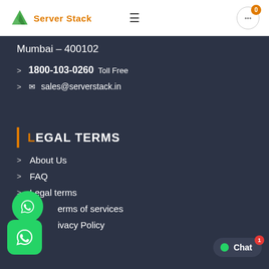[Figure (logo): Server Stack logo with green mountain icon and orange text]
Mumbai – 400102
1800-103-0260 Toll Free
✉ sales@serverstack.in
LEGAL TERMS
About Us
FAQ
Legal terms
Terms of services
Privacy Policy
Refund & Cancellation Policy